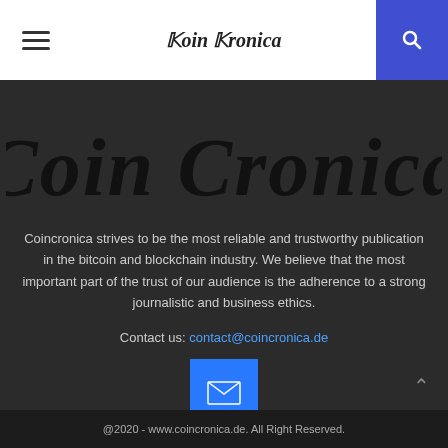Coin Cronica
[Figure (logo): Large Coin Cronica gothic blackletter logo on dark background]
Coincronica strives to be the most reliable and trustworthy publication in the bitcoin and blockchain industry. We believe that the most important part of the trust of our audience is the adherence to a strong journalistic and business ethics.
Contact us: contact@coincronica.de
[Figure (other): Blue email/envelope button icon]
@2020 - www.coincronica.de. All Right Reserved.